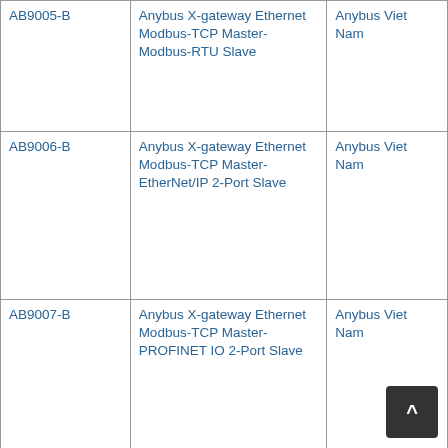| AB9005-B | Anybus X-gateway Ethernet Modbus-TCP Master-Modbus-RTU Slave | Anybus Viet Nam |
| AB9006-B | Anybus X-gateway Ethernet Modbus-TCP Master-EtherNet/IP 2-Port Slave | Anybus Viet Nam |
| AB9007-B | Anybus X-gateway Ethernet Modbus-TCP Master-PROFINET IO 2-Port Slave | Anybus Viet Nam |
|  |  |  |